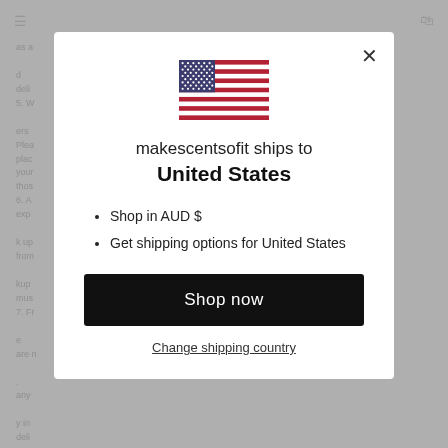[Figure (screenshot): Background webpage with greyed-out text content showing terms and conditions paragraphs, a hamburger menu icon top-left, and a cart icon top-right]
[Figure (illustration): US flag icon centered in modal dialog]
makescentsofit ships to
United States
Shop in AUD $
Get shipping options for United States
Shop now
Change shipping country